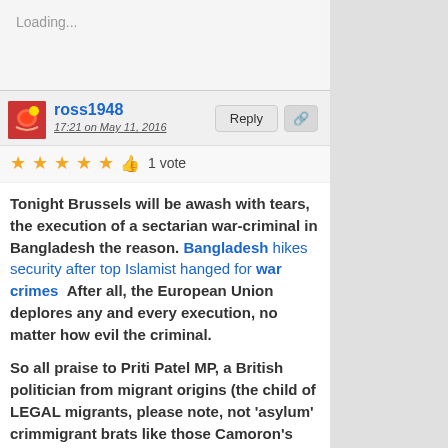Loading...
ross1948
17:21 on May 11, 2016
★★★★★ 👍 1 vote
Tonight Brussels will be awash with tears, the execution of a sectarian war-criminal in Bangladesh the reason. Bangladesh hikes security after top Islamist hanged for war crimes  After all, the European Union deplores any and every execution, no matter how evil the criminal.
So all praise to Priti Patel MP, a British politician from migrant origins (the child of LEGAL migrants, please note, not 'asylum' crimmigrant brats like those Camoron's now bringing in)
Next time some twat from the Her Britannic Majesty's Embassy in Jakarta starts spouting anti-capital punishment cr#p...